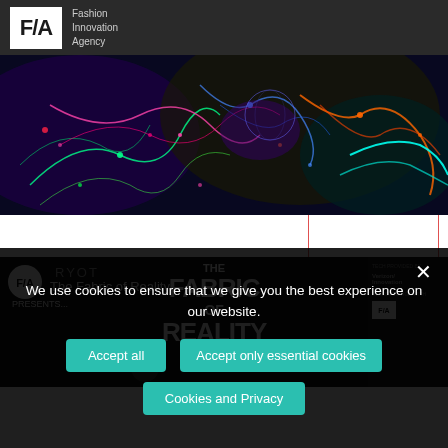F/A Fashion Innovation Agency
[Figure (photo): Colorful abstract digital art image with neon lights, neural network-like structures in blue, orange, green and red on dark background]
[Figure (screenshot): Dark background promotional image for 'The Fabric of Reality' show, featuring FIA logo circle, RYOT branding, large bold text 'THE FABRIC OF REALITY', sponsored by Verizon/Innovation, with FIA logo on right side]
We use cookies to ensure that we give you the best experience on our website.
Accept all
Accept only essential cookies
Cookies and Privacy